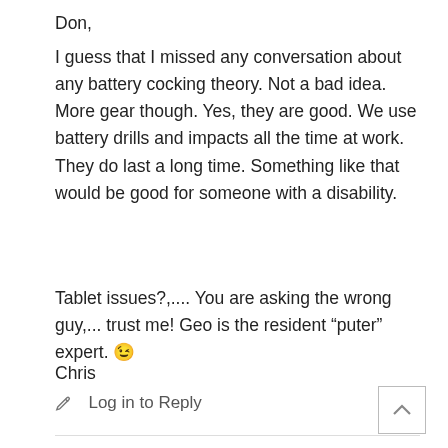Don,
I guess that I missed any conversation about any battery cocking theory. Not a bad idea. More gear though. Yes, they are good. We use battery drills and impacts all the time at work. They do last a long time. Something like that would be good for someone with a disability.
Tablet issues?,.... You are asking the wrong guy,... trust me! Geo is the resident “puter” expert. 😉
Chris
✏ Log in to Reply
Chris USA  February 15, 2019 at 5:12 pm
Don,
Tablet? I have several. Paper pages. Cardboard backer. Pen or pencil works fine.